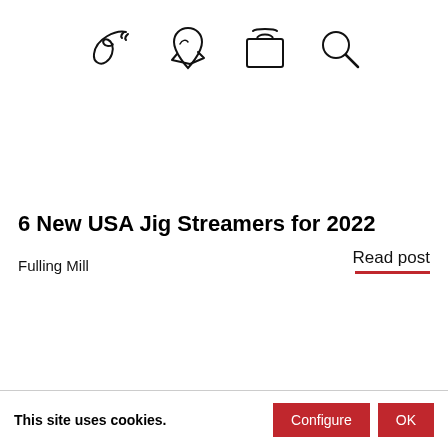[Figure (illustration): Four navigation icons in a row: a fishing hook/fly icon, a map pin with mountains icon, a shopping bag icon, and a search/magnifying glass icon]
6 New USA Jig Streamers for 2022
Fulling Mill
Read post
This site uses cookies.